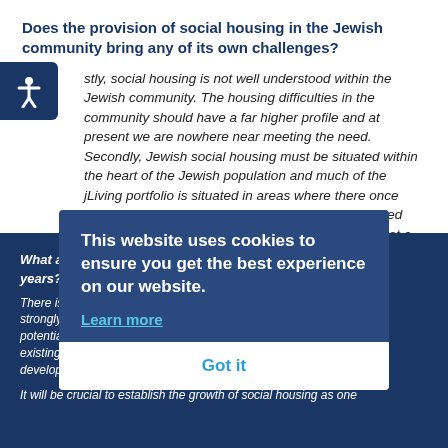Does the provision of social housing in the Jewish community bring any of its own challenges?
stly, social housing is not well understood within the Jewish community. The housing difficulties in the community should have a far higher profile and at present we are nowhere near meeting the need. Secondly, Jewish social housing must be situated within the heart of the Jewish population and much of the jLiving portfolio is situated in areas where there once were flourishing communities that have now migrated elsewhere. Relocating social housing provision is not a simple task.
What are jLiving's plans and ambitions for the next five years?
There is a new Senior Management team at jLiving strongly supported by the Board. There are a number of potentially very exciting projects to provide additional blocks, existing blocks and to partner with housing providers and developers to grow the jLiving portfolio.
It will be crucial to establish the growth of social housing as one